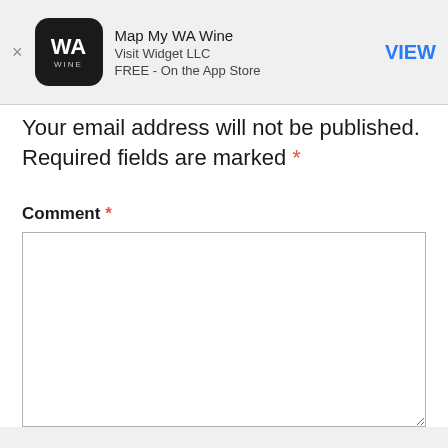[Figure (screenshot): App Store banner for 'Map My WA Wine' by Visit Widget LLC, FREE on the App Store, with a VIEW button]
Your email address will not be published. Required fields are marked *
Comment *
[Figure (screenshot): Empty comment text area input box]